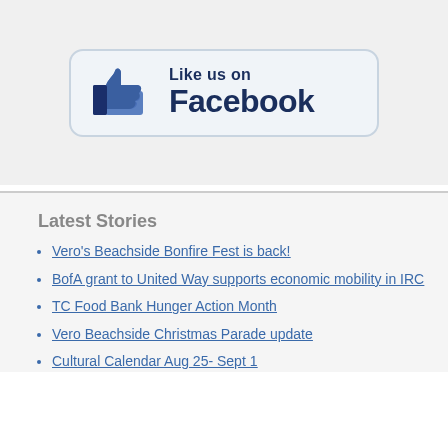[Figure (logo): Facebook Like us on Facebook button with thumbs up icon]
Latest Stories
Vero's Beachside Bonfire Fest is back!
BofA grant to United Way supports economic mobility in IRC
TC Food Bank Hunger Action Month
Vero Beachside Christmas Parade update
Cultural Calendar Aug 25- Sept 1